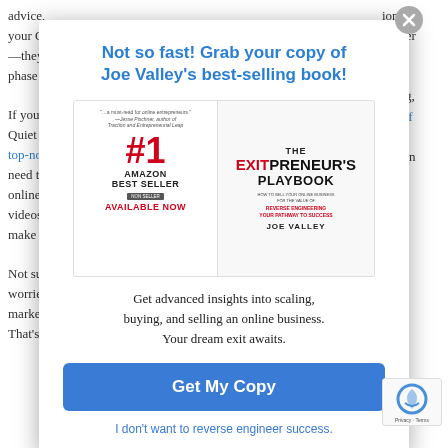advice, ... ions, your Qu broker —they'r ery phase o If you're elling, Quiet L ora of top-not you need to sell an online b y videos, ou make th ss. Not sur No worries d market s That's r has
[Figure (other): Modal popup overlay with book promotion. Title: Not so fast! Grab your copy of Joe Valley's best-selling book! Shows book cover image with #1 Amazon Best Seller badge and Available Now text. Book title: THE EXITPRENEUR'S PLAYBOOK by JOE VALLEY.]
Not so fast! Grab your copy of Joe Valley's best-selling book!
Get advanced insights into scaling, buying, and selling an online business. Your dream exit awaits.
Get My Copy
I don't want to reverse engineer success.